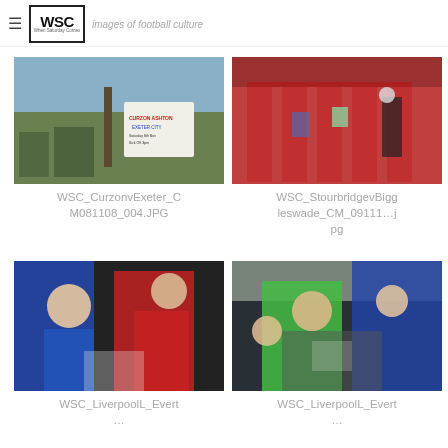WSC images of football culture
[Figure (photo): Football ground sign for Curzon Ashton vs Exeter City match]
WSC_CurzonvExeter_CM081108_004.JPG
[Figure (photo): People at red turnstiles/entrance at Stourbridge vs Biggleswade match]
WSC_StourbridgevBiggleswade_CM_09111…jpg
[Figure (photo): Liverpool female footballer signing autographs for fans including young girl]
WSC_LiverpoolL_Evert…
[Figure (photo): Liverpool goalkeeper signing autographs for young girl fan]
WSC_LiverpoolL_Evert…